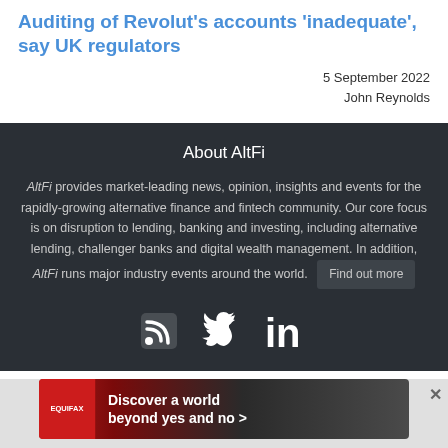Auditing of Revolut's accounts 'inadequate', say UK regulators
5 September 2022
John Reynolds
About AltFi
AltFi provides market-leading news, opinion, insights and events for the rapidly-growing alternative finance and fintech community. Our core focus is on disruption to lending, banking and investing, including alternative lending, challenger banks and digital wealth management. In addition, AltFi runs major industry events around the world.
[Figure (infographic): Social media icons: RSS feed, Twitter bird, LinkedIn]
[Figure (infographic): Equifax advertisement banner: Discover a world beyond yes and no >]